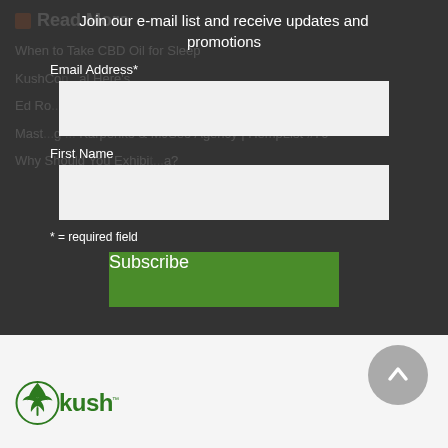Read More
When to Take CBD Oil for Sleep
KushCon ... Here's ...
Ed Ro...fa Tatupu & More Speakers Confirmed for KushC...
Maste...g... Karpenko & MJSeo Agency | HempList #70
Why Should You Exhibi...a?
Join our e-mail list and receive updates and promotions
Email Address*
First Name
* = required field
[Figure (logo): Kush logo with cannabis leaf icon and stylized 'Kush' text in green]